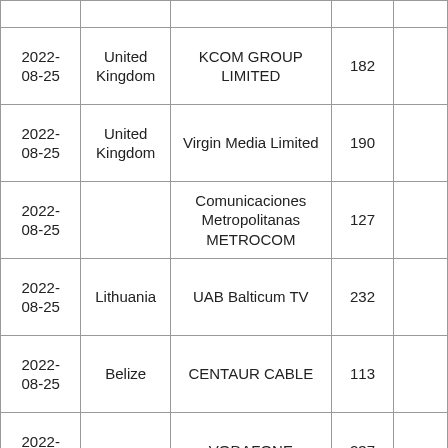| Date | Country | Organization | Number |  |
| --- | --- | --- | --- | --- |
| 2022-08-25 | United Kingdom | KCOM GROUP LIMITED | 182 |  |
| 2022-08-25 | United Kingdom | Virgin Media Limited | 190 |  |
| 2022-08-25 |  | Comunicaciones Metropolitanas METROCOM | 127 |  |
| 2022-08-25 | Lithuania | UAB Balticum TV | 232 |  |
| 2022-08-25 | Belize | CENTAUR CABLE | 113 |  |
| 2022-08-25 |  | VODAFONE | 237 |  |
|  |  |  |  |  |